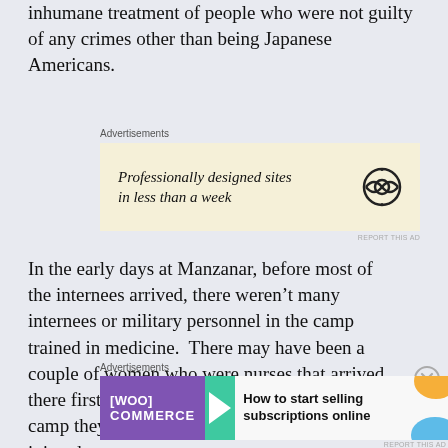inhumane treatment of people who were not guilty of any crimes other than being Japanese Americans.
[Figure (screenshot): Advertisement box with cream/yellow background showing text 'Professionally designed sites in less than a week' with WordPress logo on the right]
In the early days at Manzanar, before most of the internees arrived, there weren't many internees or military personnel in the camp trained in medicine.  There may have been a couple of women who were nurses that arrived there first, but if someone got sick or injured in camp they had to improvise to help the sick and injured
[Figure (screenshot): Advertisement for WooCommerce showing 'How to start selling subscriptions online' with purple WooCommerce logo, teal arrow, and orange and blue decorative blobs]